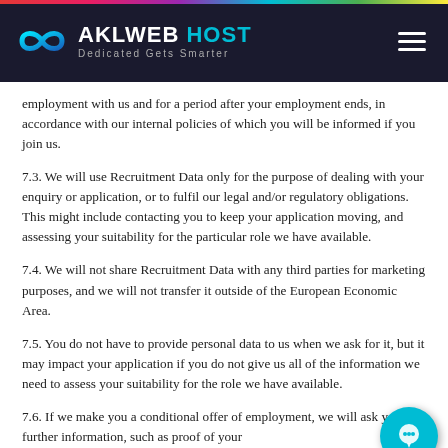AKLWEBHOST — Dedicated Gets Smarter
employment with us and for a period after your employment ends, in accordance with our internal policies of which you will be informed if you join us.
7.3. We will use Recruitment Data only for the purpose of dealing with your enquiry or application, or to fulfil our legal and/or regulatory obligations. This might include contacting you to keep your application moving, and assessing your suitability for the particular role we have available.
7.4. We will not share Recruitment Data with any third parties for marketing purposes, and we will not transfer it outside of the European Economic Area.
7.5. You do not have to provide personal data to us when we ask for it, but it may impact your application if you do not give us all of the information we need to assess your suitability for the role we have available.
7.6. If we make you a conditional offer of employment, we will ask you for further information, such as proof of your